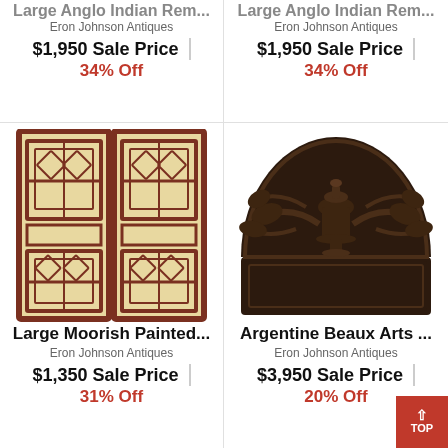Large Anglo Indian Rem...
Eron Johnson Antiques
$1,950 Sale Price
34% Off
Large Anglo Indian Rem...
Eron Johnson Antiques
$1,950 Sale Price
34% Off
[Figure (photo): Large Moorish painted double doors with geometric lattice pattern in cream and dark red/brown wood]
[Figure (photo): Argentine Beaux Arts carved dark wood architectural element, semicircular with urn and floral motifs]
Large Moorish Painted...
Eron Johnson Antiques
$1,350 Sale Price
31% Off
Argentine Beaux Arts ...
Eron Johnson Antiques
$3,950 Sale Price
20% Off